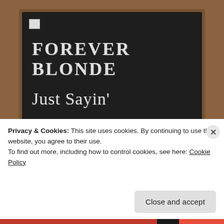[Figure (screenshot): Chalkboard background with wooden frame showing blog/website menu items written in chalk-style text: 'FOREVER BLONDE', 'Just Sayin'', 'FOR THE LOVE OF PETE!!!', and partially visible 'Southern Sweet Tea']
Privacy & Cookies: This site uses cookies. By continuing to use this website, you agree to their use.
To find out more, including how to control cookies, see here: Cookie Policy
Close and accept